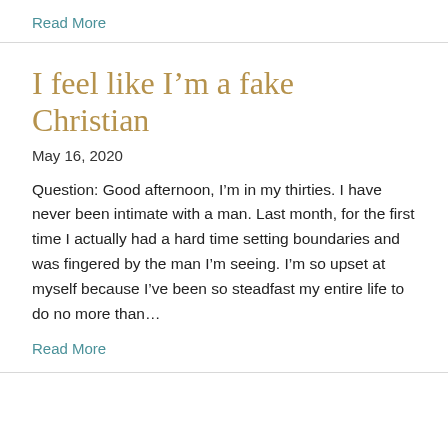Read More
I feel like I'm a fake Christian
May 16, 2020
Question: Good afternoon, I'm in my thirties. I have never been intimate with a man. Last month, for the first time I actually had a hard time setting boundaries and was fingered by the man I'm seeing. I'm so upset at myself because I've been so steadfast my entire life to do no more than...
Read More